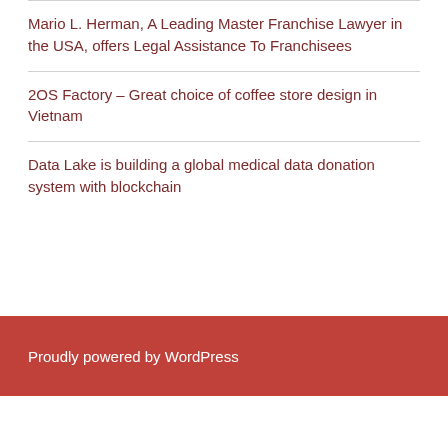Mario L. Herman, A Leading Master Franchise Lawyer in the USA, offers Legal Assistance To Franchisees
2OS Factory – Great choice of coffee store design in Vietnam
Data Lake is building a global medical data donation system with blockchain
Proudly powered by WordPress